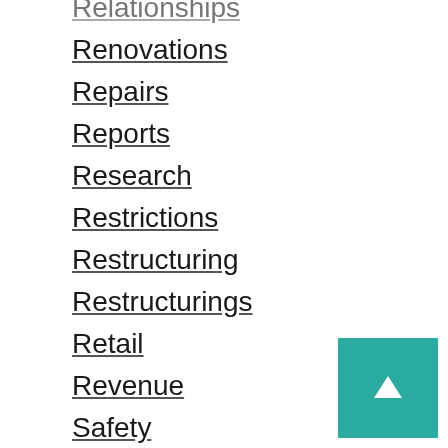Relationships
Renovations
Repairs
Reports
Research
Restrictions
Restructuring
Restructurings
Retail
Revenue
Safety
Sales
Science
Security
SEO
Services
Shipping